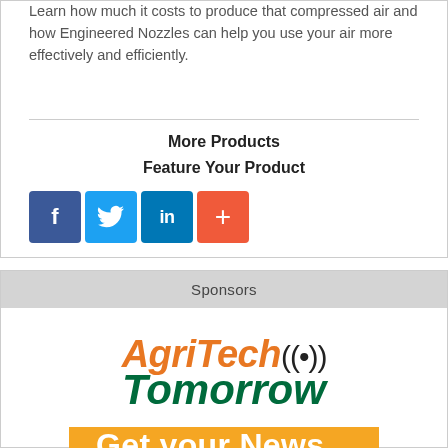Learn how much it costs to produce that compressed air and how Engineered Nozzles can help you use your air more effectively and efficiently.
More Products
Feature Your Product
[Figure (infographic): Social media share icons: Facebook (blue), Twitter (light blue), LinkedIn (dark blue), plus/add (orange-red)]
Sponsors
[Figure (logo): AgriTech Tomorrow logo with orange italic AgriTech text and wifi/signal icon, and green italic Tomorrow text below]
Get your News...